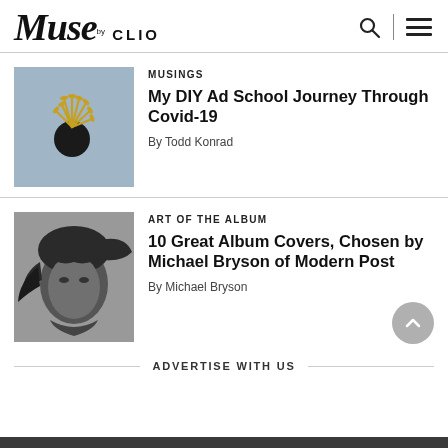Muse by CLIO
MUSINGS
My DIY Ad School Journey Through Covid-19
By Todd Konrad
[Figure (photo): Blue textured background with a black circular object and golden plant/wheat shoots emerging from it]
ART OF THE ALBUM
10 Great Album Covers, Chosen by Michael Bryson of Modern Post
By Michael Bryson
[Figure (photo): Black and white portrait photo of a person with dark wet hair blowing in the wind]
ADVERTISE WITH US